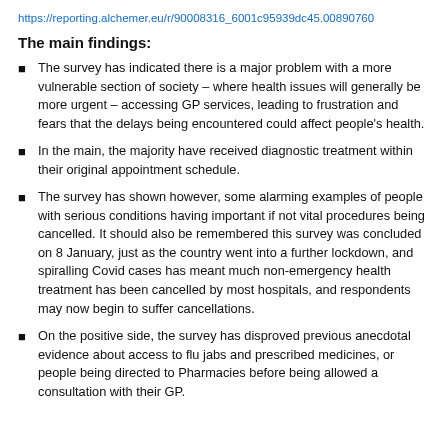https://reporting.alchemer.eu/r/90008316_6001c95939dc45.00890760
The main findings:
The survey has indicated there is a major problem with a more vulnerable section of society – where health issues will generally be more urgent – accessing GP services, leading to frustration and fears that the delays being encountered could affect people's health.
In the main, the majority have received diagnostic treatment within their original appointment schedule.
The survey has shown however, some alarming examples of people with serious conditions having important if not vital procedures being cancelled. It should also be remembered this survey was concluded on 8 January, just as the country went into a further lockdown, and spiralling Covid cases has meant much non-emergency health treatment has been cancelled by most hospitals, and respondents may now begin to suffer cancellations.
On the positive side, the survey has disproved previous anecdotal evidence about access to flu jabs and prescribed medicines, or people being directed to Pharmacies before being allowed a consultation with their GP.